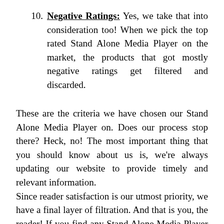10. Negative Ratings: Yes, we take that into consideration too! When we pick the top rated Stand Alone Media Player on the market, the products that got mostly negative ratings get filtered and discarded.
These are the criteria we have chosen our Stand Alone Media Player on. Does our process stop there? Heck, no! The most important thing that you should know about us is, we're always updating our website to provide timely and relevant information.
Since reader satisfaction is our utmost priority, we have a final layer of filtration. And that is you, the reader! If you find any Stand Alone Media Player featured here Incorrect, irrelevant, not up to the mark, or simply